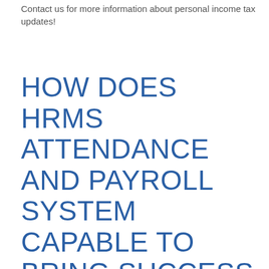Contact us for more information about personal income tax updates!
HOW DOES HRMS ATTENDANCE AND PAYROLL SYSTEM CAPABLE TO BRING SUCCESS TO YOUR BUSINESS?